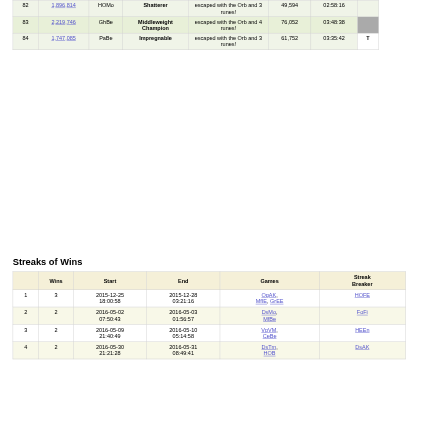|  |  | Player | Title | Outcome | Score | Duration |  |
| --- | --- | --- | --- | --- | --- | --- | --- |
| 82 | 1,896,814 | HOMo | Shatterer | escaped with the Orb and 3 runes! | 49,594 | 02:58:16 |  |
| 83 | 2,219,746 | GhBe | Middleweight Champion | escaped with the Orb and 4 runes! | 76,052 | 03:48:38 |  |
| 84 | 1,747,085 | PaBe | Impregnable | escaped with the Orb and 3 runes! | 61,752 | 03:35:42 |  |
Streaks of Wins
|  | Wins | Start | End | Games | Streak Breaker |
| --- | --- | --- | --- | --- | --- |
| 1 | 3 | 2015-12-25 18:00:58 | 2015-12-28 03:21:16 | OgAK, MfIE, GrEE | HOFE |
| 2 | 2 | 2016-05-02 07:50:43 | 2016-05-03 01:56:57 | DsMo, MfBe | FoFi |
| 3 | 2 | 2016-05-09 21:40:49 | 2016-05-10 05:14:58 | VpVM, CeBe | HEEn |
| 4 | 2 | 2016-05-30 21:21:28 | 2016-05-31 08:49:41 | DsTm, HOB | DsAK |